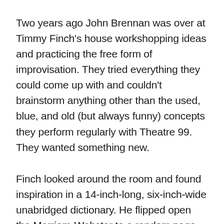Two years ago John Brennan was over at Timmy Finch's house workshopping ideas and practicing the free form of improvisation. They tried everything they could come up with and couldn't brainstorm anything other than the used, blue, and old (but always funny) concepts they perform regularly with Theatre 99. They wanted something new.
Finch looked around the room and found inspiration in a 14-inch-long, six-inch-wide unabridged dictionary. He flipped open the Merriam-Webster to a random page and let his finger fall on a word that he doesn't remember now, and their minds went blank with a surface